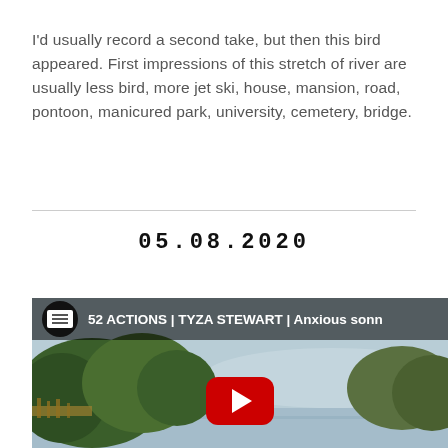I'd usually record a second take, but then this bird appeared. First impressions of this stretch of river are usually less bird, more jet ski, house, mansion, road, pontoon, manicured park, university, cemetery, bridge.
05.08.2020
[Figure (screenshot): YouTube video thumbnail showing a river scene with trees and sky. Channel: 52 ACTIONS | TYZA STEWART | Anxious sonn... with a red YouTube play button.]